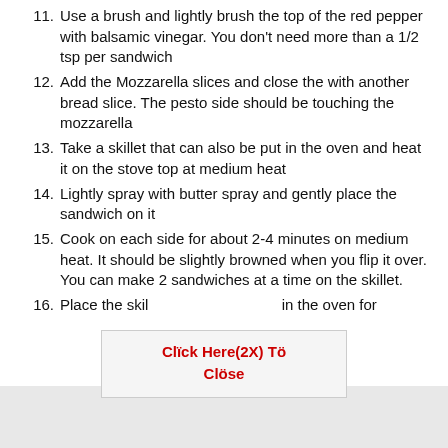11. Use a brush and lightly brush the top of the red pepper with balsamic vinegar. You don't need more than a 1/2 tsp per sandwich
12. Add the Mozzarella slices and close the with another bread slice. The pesto side should be touching the mozzarella
13. Take a skillet that can also be put in the oven and heat it on the stove top at medium heat
14. Lightly spray with butter spray and gently place the sandwich on it
15. Cook on each side for about 2-4 minutes on medium heat. It should be slightly browned when you flip it over. You can make 2 sandwiches at a time on the skillet.
16. Place the skil ... in the oven for
Click Here(2X) Tö Clöse